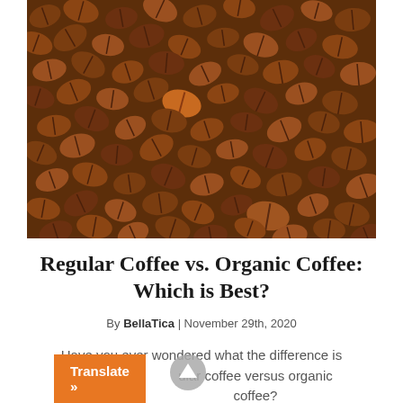[Figure (photo): Close-up photograph of many roasted coffee beans filling the entire frame, brown tones]
Regular Coffee vs. Organic Coffee: Which is Best?
By BellaTica | November 29th, 2020
Have you ever wondered what the difference is between regular coffee versus organic coffee?